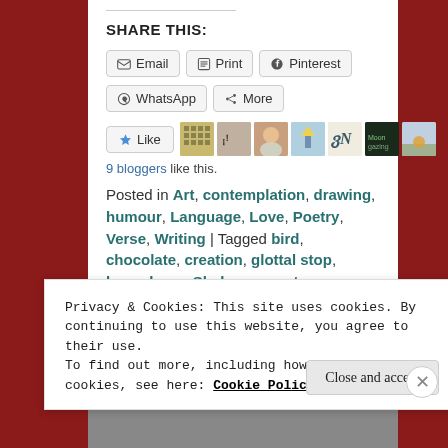SHARE THIS:
Email | Print | Pinterest | WhatsApp | More
[Figure (other): Like button with star icon and row of blogger avatar thumbnails]
9 bloggers like this.
Posted in Art, contemplation, drawing, humour, Language, Love, Poetry, Verse, Writing | Tagged bird, chocolate, creation, glottal stop, logorrhoea, Shakespeare, tongue, Treasure Island,
Privacy & Cookies: This site uses cookies. By continuing to use this website, you agree to their use.
To find out more, including how to control cookies, see here: Cookie Policy
Close and accept